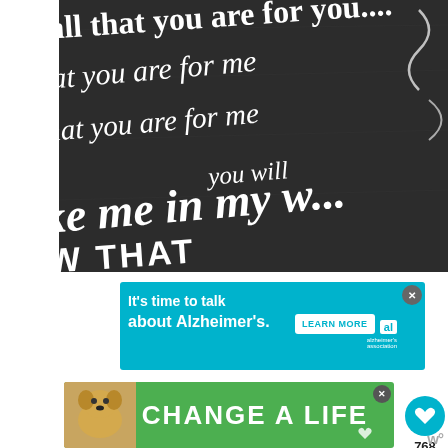[Figure (photo): Chalkboard with white cursive/handwritten text including phrases: 'all that you are for me', 'that you are for me', 'ke me in my w', 'W THAT', partial song lyrics on dark chalkboard background]
[Figure (screenshot): Alzheimer's Association advertisement banner: teal background, white text 'It’s time to talk about Alzheimer’s.' with 'LEARN MORE' button and Alzheimer's Association logo, close X button]
[Figure (screenshot): Social media sidebar with teal heart/like button, count '768', and share button with plus icon]
[Figure (screenshot): WHAT'S NEXT panel showing 'Printable Be Optimistic...' with mountain and M icons]
[Figure (screenshot): Green banner advertisement with dog photo on left and white bold text 'CHANGE A LIFE' with close X button]
[Figure (logo): Small dark logo at bottom right, appears to be 'we' or 'w' style typography mark]